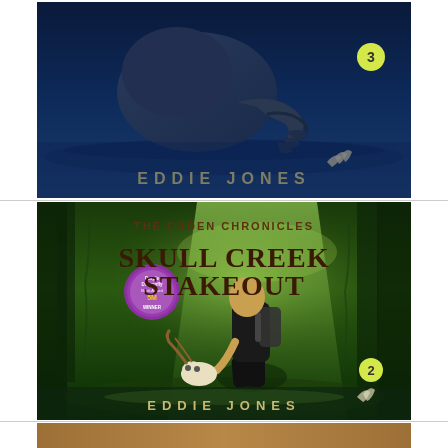[Figure (photo): Book cover showing a dark aquatic creature reaching out of water, with text 'EDDIE JONES' at the bottom and number 3 badge. Part of The Caden Chronicles series.]
[Figure (photo): Book cover for 'Skull Creek Stakeout - The Caden Chronicles' by Eddie Jones. Shows a boy kneeling in water examining an animal skull, surrounded by green swampy forest. Purple Dragonfly Book Award winner badge visible. Number 2 badge in corner.]
[Figure (photo): Partial view of a third book cover, cropped at bottom of page.]